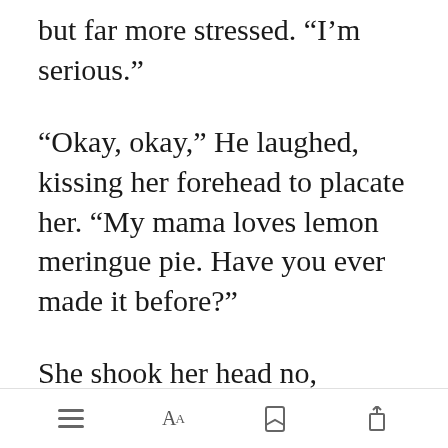but far more stressed. “I’m serious.”
“Okay, okay,” He laughed, kissing her forehead to placate her. “My mama loves lemon meringue pie. Have you ever made it before?”
She shook her head no, suddenly a lot more worried. Perhaps she should do the dessert first, just in case she made it wrong and had to
[Figure (screenshot): Mobile app bottom toolbar with menu, font size (AA), bookmark, and share icons. A green 'Open in app' button overlay appears over the text.]
Open in app | menu | AA | bookmark | share